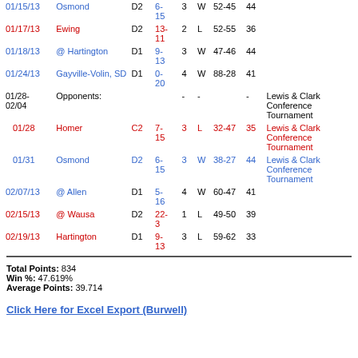| Date | Opponent | Div | Record | Q | W/L | Score | Pts | Notes |
| --- | --- | --- | --- | --- | --- | --- | --- | --- |
| 01/15/13 | Osmond | D2 | 6-15 | 3 | W | 52-45 | 44 |  |
| 01/17/13 | Ewing | D2 | 13-11 | 2 | L | 52-55 | 36 |  |
| 01/18/13 | @ Hartington | D1 | 9-13 | 3 | W | 47-46 | 44 |  |
| 01/24/13 | Gayville-Volin, SD | D1 | 0-20 | 4 | W | 88-28 | 41 |  |
| 01/28-02/04 | Opponents: |  |  | - | - |  | - | - Lewis & Clark Conference Tournament |
| 01/28 | Homer | C2 | 7-15 | 3 | L | 32-47 | 35 | Lewis & Clark Conference Tournament |
| 01/31 | Osmond | D2 | 6-15 | 3 | W | 38-27 | 44 | Lewis & Clark Conference Tournament |
| 02/07/13 | @ Allen | D1 | 5-16 | 4 | W | 60-47 | 41 |  |
| 02/15/13 | @ Wausa | D2 | 22-3 | 1 | L | 49-50 | 39 |  |
| 02/19/13 | Hartington | D1 | 9-13 | 3 | L | 59-62 | 33 |  |
Total Points: 834
Win %: 47.619%
Average Points: 39.714
Click Here for Excel Export (Burwell)